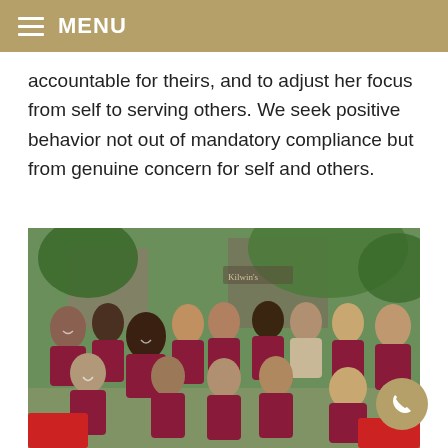MENU
accountable for theirs, and to adjust her focus from self to serving others. We seek positive behavior not out of mandatory compliance but from genuine concern for self and others.
[Figure (photo): Group photo of young women wearing maroon polo shirts outdoors near trees and a Kilwin's store sign, smiling and laughing together.]